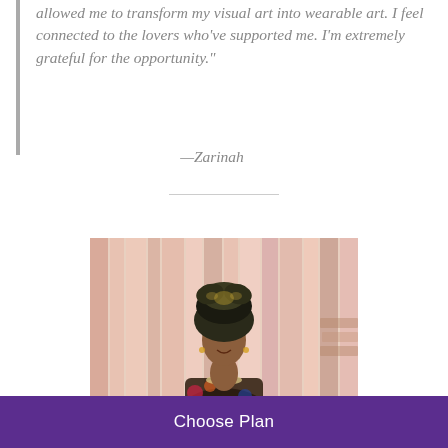allowed me to transform my visual art into wearable art. I feel connected to the lovers who've supported me. I'm extremely grateful for the opportunity."
—Zarinah
[Figure (photo): Portrait photo of a woman wearing a large decorative headwrap/headtie, colorful patterned clothing, standing in front of hanging fabric strips in various pink and neutral tones]
Choose Plan